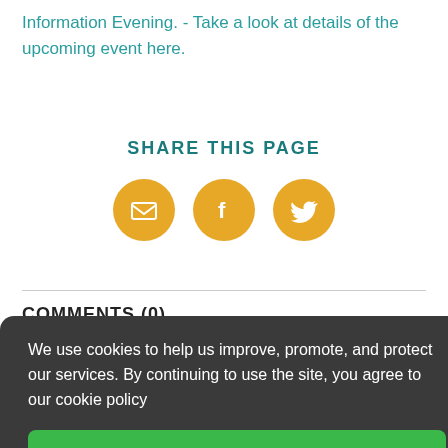Information Evening. - Take a look at details of the upcoming event here.
SHARE THIS PAGE
[Figure (infographic): Three golden circular social share buttons: email envelope icon, Facebook f icon, and Twitter bird icon]
COMMENTS (0)
Comment (maximum 3500 characters) (required)
We use cookies to help us improve, promote, and protect our services. By continuing to use the site, you agree to our cookie policy
Accept Cookies
Add a picture